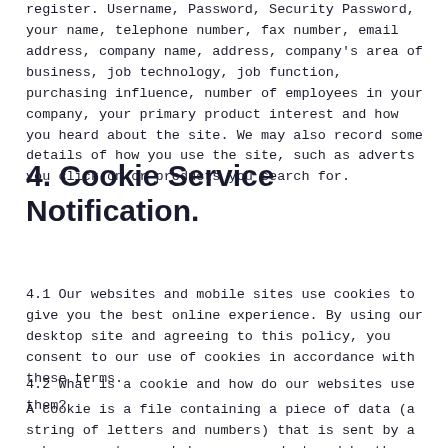register. Username, Password, Security Password, your name, telephone number, fax number, email address, company name, address, company's area of business, job technology, job function, purchasing influence, number of employees in your company, your primary product interest and how you heard about the site. We may also record some details of how you use the site, such as adverts you click on or products you search for.
4. Cookie Service Notification.
4.1 Our websites and mobile sites use cookies to give you the best online experience. By using our desktop site and agreeing to this policy, you consent to our use of cookies in accordance with these terms.
4.2 What is a cookie and how do our websites use them?
A cookie is a file containing a piece of data (a string of letters and numbers) that is sent by a web server to a web browser, and stored by the browser when you visit a website. The identifier is then sent back to the server each time the browser requests a